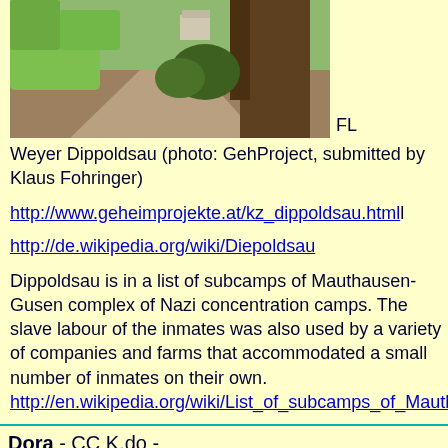[Figure (photo): Outdoor photograph showing a path, trees, and greenery. Labeled FL Weyer Dippoldsau.]
FL Weyer Dippoldsau (photo: GehProject, submitted by Klaus Fohringer)
http://www.geheimprojekte.at/kz_dippoldsau.html
http://de.wikipedia.org/wiki/Diepoldsau
Dippoldsau is in a list of subcamps of Mauthausen-Gusen complex of Nazi concentration camps. The slave labour of the inmates was also used by a variety of companies and farms that accommodated a small number of inmates on their own. http://en.wikipedia.org/wiki/List_of_subcamps_of_Mautha
Dora - CC K.do -
starting Oct 28, 1944 with 514- 648 prisoners; On